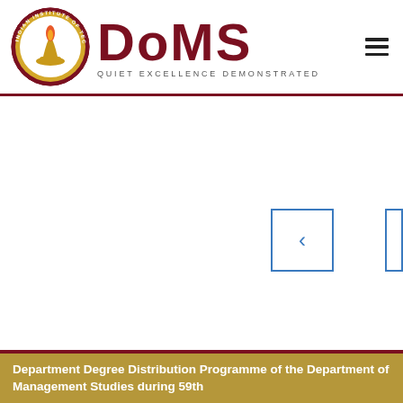[Figure (logo): IIT Madras circular seal/logo with lamp and Sanskrit text]
DoMS
QUIET EXCELLENCE DEMONSTRATED
[Figure (other): Hamburger menu icon (three horizontal lines)]
[Figure (other): Left navigation chevron button with blue border]
[Figure (other): Partial right navigation chevron button with blue border]
[Figure (other): Scroll up arrow button in gray]
Department Degree Distribution Programme of the Department of Management Studies during 59th